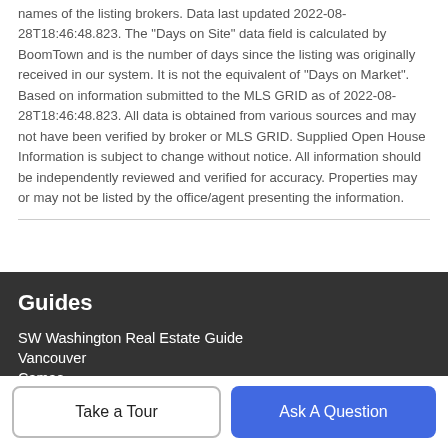names of the listing brokers. Data last updated 2022-08-28T18:46:48.823. The "Days on Site" data field is calculated by BoomTown and is the number of days since the listing was originally received in our system. It is not the equivalent of "Days on Market". Based on information submitted to the MLS GRID as of 2022-08-28T18:46:48.823. All data is obtained from various sources and may not have been verified by broker or MLS GRID. Supplied Open House Information is subject to change without notice. All information should be independently reviewed and verified for accuracy. Properties may or may not be listed by the office/agent presenting the information.
Guides
SW Washington Real Estate Guide
Vancouver
Camas
Portland